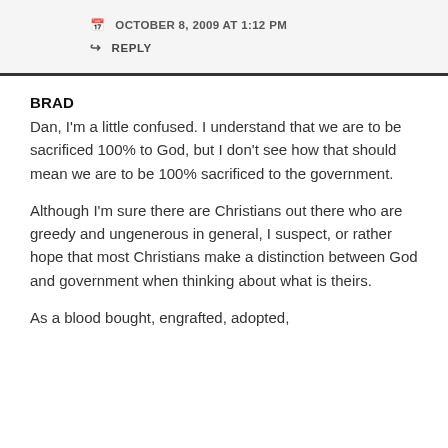OCTOBER 8, 2009 AT 1:12 PM
REPLY
BRAD
Dan, I'm a little confused. I understand that we are to be sacrificed 100% to God, but I don't see how that should mean we are to be 100% sacrificed to the government.
Although I'm sure there are Christians out there who are greedy and ungenerous in general, I suspect, or rather hope that most Christians make a distinction between God and government when thinking about what is theirs.
As a blood bought, engrafted, adopted,